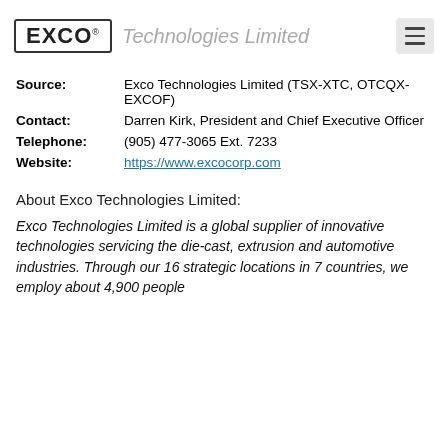EXCO Technologies Limited
| Field | Value |
| --- | --- |
| Source: | Exco Technologies Limited (TSX-XTC, OTCQX-EXCOF) |
| Contact: | Darren Kirk, President and Chief Executive Officer |
| Telephone: | (905) 477-3065 Ext. 7233 |
| Website: | https://www.excocorp.com |
About Exco Technologies Limited:
Exco Technologies Limited is a global supplier of innovative technologies servicing the die-cast, extrusion and automotive industries. Through our 16 strategic locations in 7 countries, we employ about 4,900 people